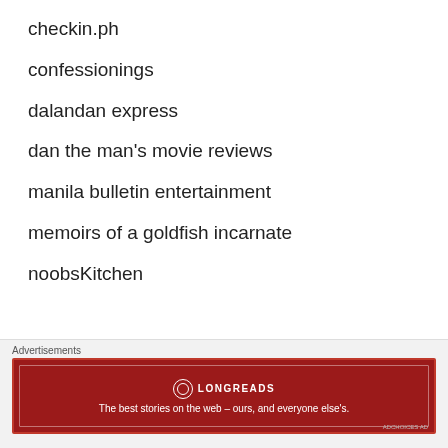checkin.ph
confessionings
dalandan express
dan the man's movie reviews
manila bulletin entertainment
memoirs of a goldfish incarnate
noobsKitchen
Advertisements
[Figure (other): Longreads advertisement banner: dark red background with Longreads logo and tagline 'The best stories on the web – ours, and everyone else's.']